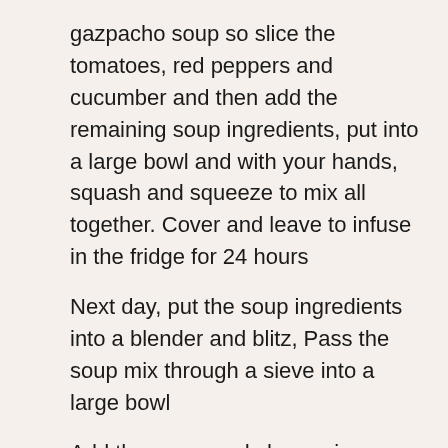gazpacho soup so slice the tomatoes, red peppers and cucumber and then add the remaining soup ingredients, put into a large bowl and with your hands, squash and squeeze to mix all together. Cover and leave to infuse in the fridge for 24 hours
Next day, put the soup ingredients into a blender and blitz, Pass the soup mix through a sieve into a large bowl
Add the sugar and sherry vinegar into a small pan and over a low heat, stir until it turns a caramel colour. Mix in the remaining ingredient and then add to the soup and give a good stir to make sure everything is mixed together